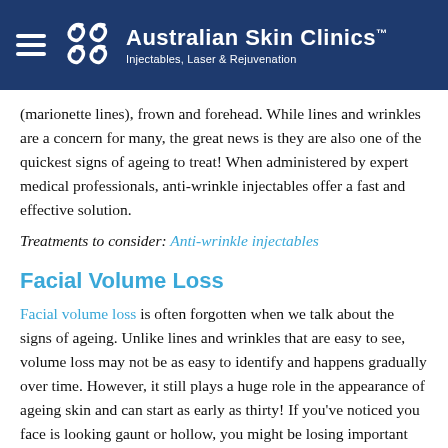Australian Skin Clinics™ — Injectables, Laser & Rejuvenation
(marionette lines), frown and forehead. While lines and wrinkles are a concern for many, the great news is they are also one of the quickest signs of ageing to treat! When administered by expert medical professionals, anti-wrinkle injectables offer a fast and effective solution.
Treatments to consider: Anti-wrinkle injectables
Facial Volume Loss
Facial volume loss is often forgotten when we talk about the signs of ageing. Unlike lines and wrinkles that are easy to see, volume loss may not be as easy to identify and happens gradually over time. However, it still plays a huge role in the appearance of ageing skin and can start as early as thirty! If you've noticed you face is looking gaunt or hollow, you might be losing important facial fat and structure that keeps us